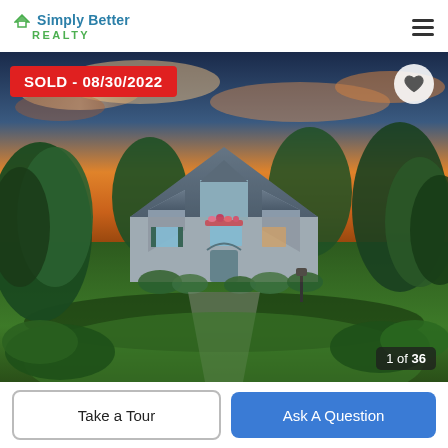Simply Better REALTY
[Figure (photo): Exterior photo of a two-story stone house with manicured lawn, trees, and a dramatic sunset sky. A 'SOLD - 08/30/2022' badge appears in the top-left corner. A heart icon button is at the top-right. Photo counter '1 of 36' is at the bottom-right.]
1 of 36
Take a Tour
Ask A Question